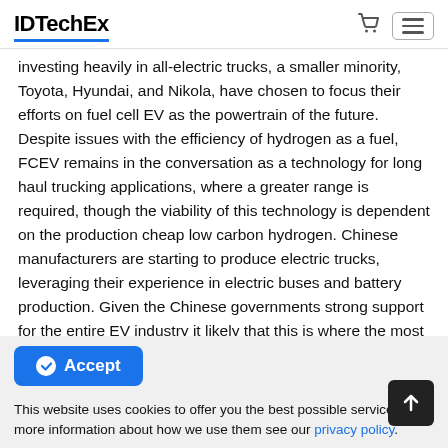IDTechEx
investing heavily in all-electric trucks, a smaller minority, Toyota, Hyundai, and Nikola, have chosen to focus their efforts on fuel cell EV as the powertrain of the future. Despite issues with the efficiency of hydrogen as a fuel, FCEV remains in the conversation as a technology for long haul trucking applications, where a greater range is required, though the viability of this technology is dependent on the production cheap low carbon hydrogen. Chinese manufacturers are starting to produce electric trucks, leveraging their experience in electric buses and battery production. Given the Chinese governments strong support for the entire EV industry it likely that this is where the most significant deployment of EV trucks will be seen in the near future.
Accept
This website uses cookies to offer you the best possible service. For more information about how we use them see our privacy policy.